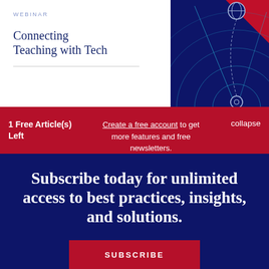[Figure (screenshot): Webinar advertisement: 'Connecting Teaching with Tech' with dark blue radar/network graphic and red corner accent]
1 Free Article(s) Left
Create a free account to get more features and free newsletters.
SUBSCRIBE FOR UNLIMITED ACCESS
collapse
Subscribe today for unlimited access to best practices, insights, and solutions.
SUBSCRIBE